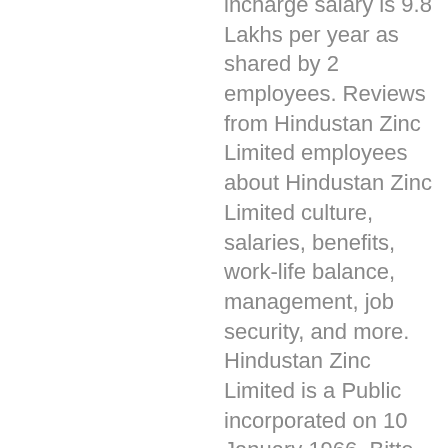incharge salary is 9.8 Lakhs per year as shared by 2 employees. Reviews from Hindustan Zinc Limited employees about Hindustan Zinc Limited culture, salaries, benefits, work-life balance, management, job security, and more. Hindustan Zinc Limited is a Public incorporated on 10 January 1966. Bitte warten Sie, während wir 194 Salaries. We take a deep dive into what's impacting employee retention and what employees are looking for in their new role. Hindustan